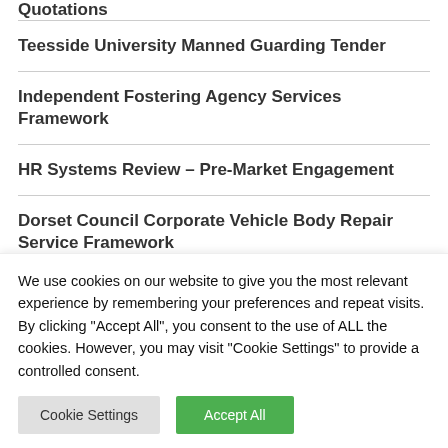Quotations
Teesside University Manned Guarding Tender
Independent Fostering Agency Services Framework
HR Systems Review – Pre-Market Engagement
Dorset Council Corporate Vehicle Body Repair Service Framework
AI and Automation Framework – Crown
We use cookies on our website to give you the most relevant experience by remembering your preferences and repeat visits. By clicking "Accept All", you consent to the use of ALL the cookies. However, you may visit "Cookie Settings" to provide a controlled consent.